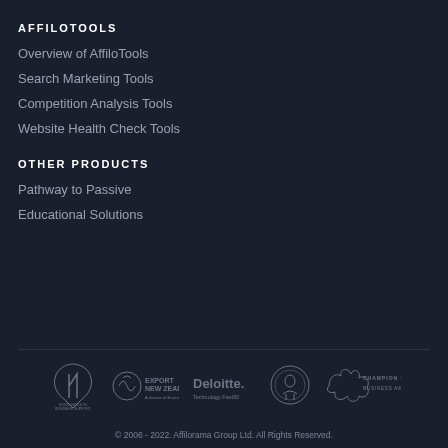AFFILOTOOLS
Overview of AffiloTools
Search Marketing Tools
Competition Analysis Tools
Website Health Check Tools
OTHER PRODUCTS
Pathway to Passive
Educational Solutions
[Figure (logo): Row of award and partner logos: NZBA Excellence in Business Support Award, Export New Zealand, Deloitte Technology Fast50, Canterbury Employers Chamber of Commerce, Champion Canterbury Business Awards]
© 2006 - 2022. Affilorama Group Ltd. All Rights Reserved.